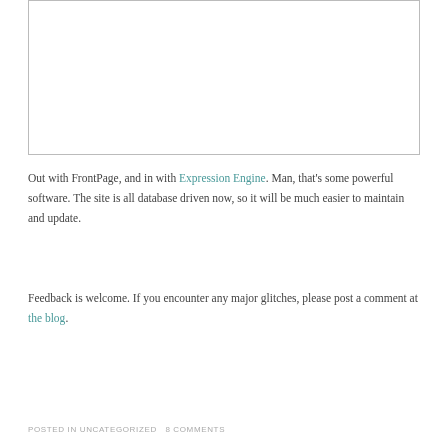[Figure (other): White rectangular box with a thin border, likely a placeholder image area.]
Out with FrontPage, and in with Expression Engine. Man, that's some powerful software. The site is all database driven now, so it will be much easier to maintain and update.
Feedback is welcome. If you encounter any major glitches, please post a comment at the blog.
POSTED IN UNCATEGORIZED 8 COMMENTS